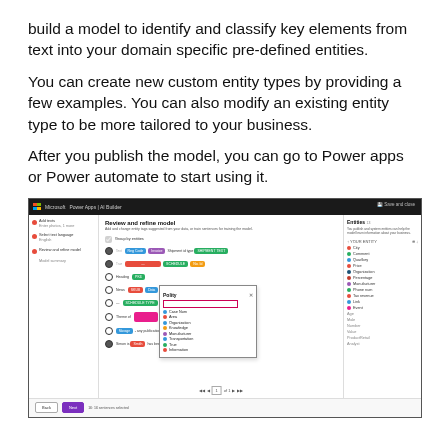build a model to identify and classify key elements from text into your domain specific pre-defined entities.
You can create new custom entity types by providing a few examples. You can also modify an existing entity type to be more tailored to your business.
After you publish the model, you can go to Power apps or Power automate to start using it.
[Figure (screenshot): Screenshot of Microsoft Power Apps AI Builder interface showing the 'Review and refine model' page with labeled text entities, an entity type dropdown menu open showing options like Case Num, Area, Organization, Knowledge, Manufacturer, Transportation, True, Information, and a right panel showing entity types list.]